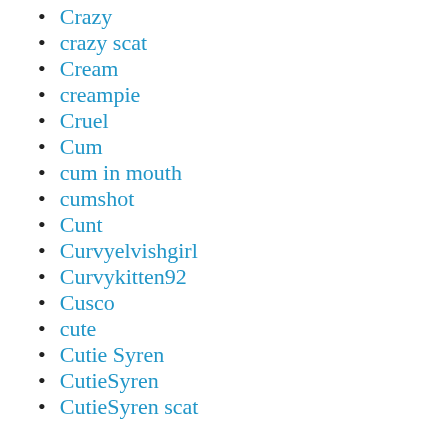Crazy
crazy scat
Cream
creampie
Cruel
Cum
cum in mouth
cumshot
Cunt
Curvyelvishgirl
Curvykitten92
Cusco
cute
Cutie Syren
CutieSyren
CutieSyren scat